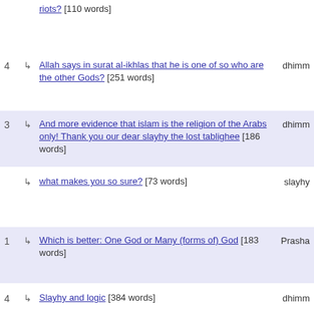riots? [110 words]
4 → Allah says in surat al-ikhlas that he is one of so who are the other Gods? [251 words] dhimm
3 → And more evidence that islam is the religion of the Arabs only! Thank you our dear slayhy the lost tablighee [186 words] dhimm
→ what makes you so sure? [73 words] slayhy
1 → Which is better: One God or Many (forms of) God [183 words] Prasha
4 → Slayhy and logic [384 words] dhimm
→ Seeing Jesus Christ for Who He IS is a Matter of the Heart and Mind [256 words] M. Tow